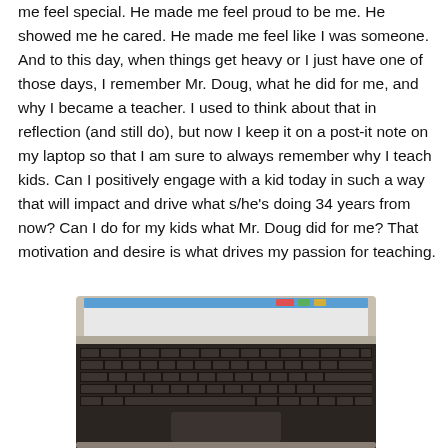me feel special.  He made me feel proud to be me.  He showed me he cared.  He made me feel like I was someone.  And to this day, when things get heavy or I just have one of those days, I remember Mr. Doug, what he did for me, and why I became a teacher.  I used to think about that in reflection (and still do), but now I keep it on a post-it note on my laptop so that I am sure to always remember why I teach kids.  Can I positively engage with a kid today in such a way that will impact and drive what s/he's doing 34 years from now?  Can I do for my kids what Mr. Doug did for me?  That motivation and desire is what drives my passion for teaching.
[Figure (photo): Photo of a MacBook Air laptop open showing the keyboard and screen with browser tabs visible at the top]